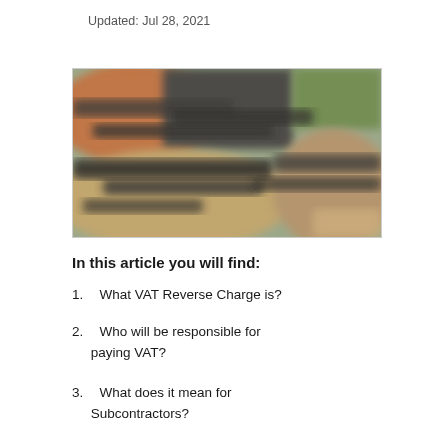Updated: Jul 28, 2021
[Figure (photo): Blurred outdoor construction site photograph showing excavated ground, soil, and building materials in dark and sandy tones.]
In this article you will find:
1. What VAT Reverse Charge is?
2. Who will be responsible for paying VAT?
3. What does it mean for Subcontractors?